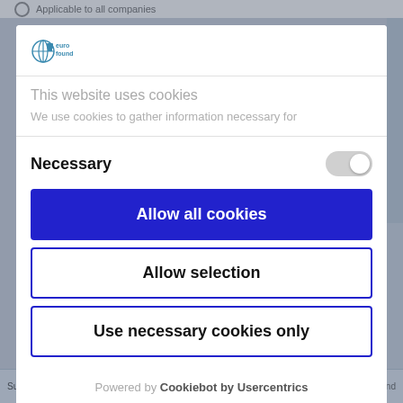[Figure (screenshot): Background webpage with radio button and text 'Applicable to all companies', partially visible behind cookie consent modal]
[Figure (logo): Eurofound logo - small blue/teal lock and globe icon with 'Eurofound' text]
This website uses cookies
We use cookies to gather information necessary for
Necessary
Allow all cookies
Allow selection
Use necessary cookies only
Powered by Cookiebot by Usercentrics
Susiaijarjia 452.80 -